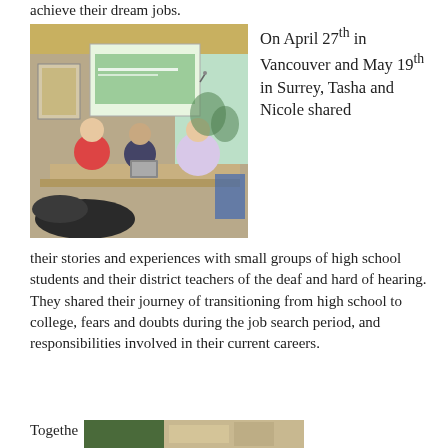achieve their dream jobs.
[Figure (photo): People sitting around a conference table with a projector screen showing a green slide in the background. A dog is visible in the foreground.]
On April 27th in Vancouver and May 19th in Surrey, Tasha and Nicole shared their stories and experiences with small groups of high school students and their district teachers of the deaf and hard of hearing. They shared their journey of transitioning from high school to college, fears and doubts during the job search period, and responsibilities involved in their current careers.
Togethe
[Figure (photo): Partial view of another photo at the bottom of the page.]